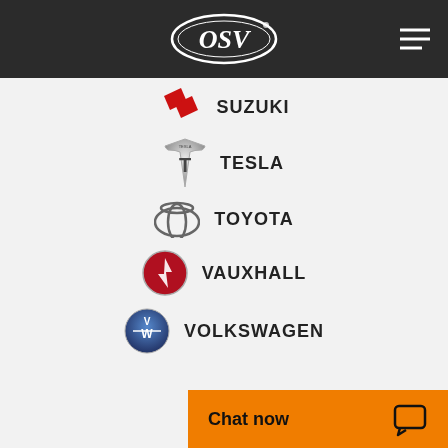[Figure (logo): OSV logo in white oval on dark header with hamburger menu icon]
SUZUKI
TESLA
TOYOTA
VAUXHALL
VOLKSWAGEN
Chat now